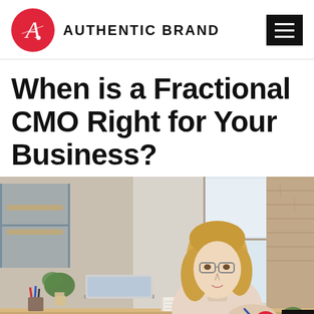AUTHENTIC BRAND
When is a Fractional CMO Right for Your Business?
[Figure (photo): Woman with blonde hair and glasses sitting at a desk, working on a laptop and writing in a notebook, in an office/loft setting with large windows and plants in the background.]